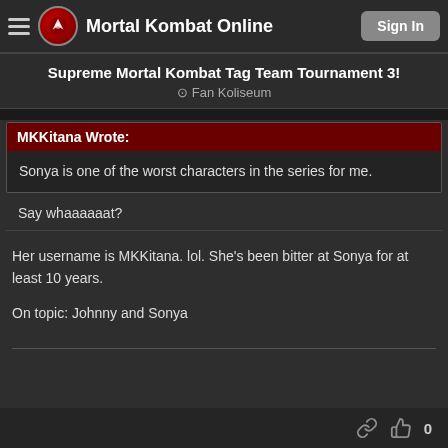Mortal Kombat Online | Sign In
Supreme Mortal Kombat Tag Team Tournament 3!
Fan Koliseum
MKKitana Wrote:
Sonya is one of the worst characters in the series for me.
Say whaaaaaat?
Her username is MKKitana. lol. She's been bitter at Sonya for at least 10 years.

On topic: Johnny and Sonya